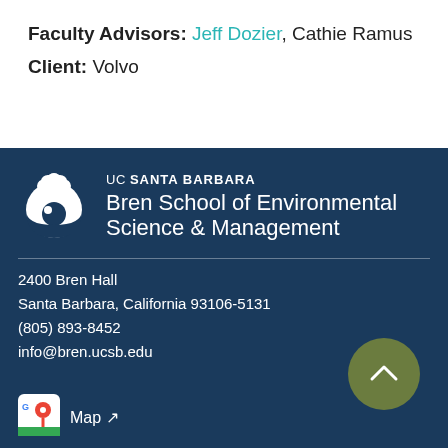Faculty Advisors: Jeff Dozier, Cathie Ramus
Client: Volvo
[Figure (logo): UC Santa Barbara Bren School of Environmental Science & Management logo with white oak tree and circular wave icon on dark navy background]
2400 Bren Hall
Santa Barbara, California 93106-5131
(805) 893-8452
info@bren.ucsb.edu
[Figure (logo): Google Maps icon]
Map ↗